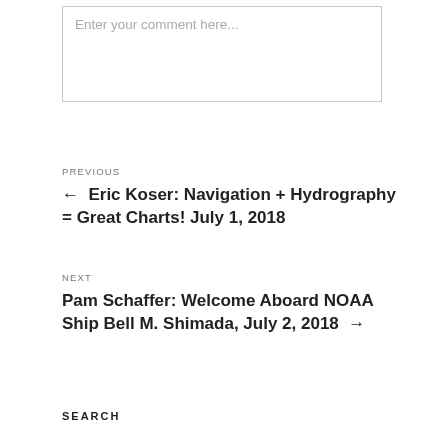Enter your comment here...
PREVIOUS
← Eric Koser: Navigation + Hydrography = Great Charts! July 1, 2018
NEXT
Pam Schaffer: Welcome Aboard NOAA Ship Bell M. Shimada, July 2, 2018 →
SEARCH